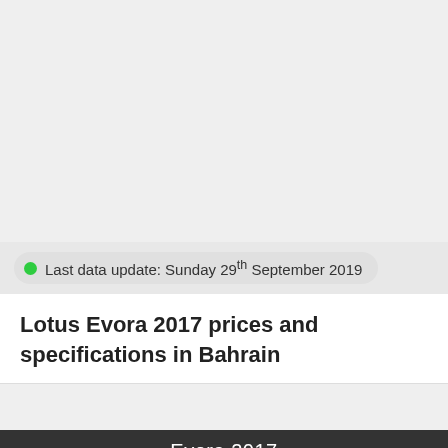Last data update: Sunday 29th September 2019
Lotus Evora 2017 prices and specifications in Bahrain
Evora 2017